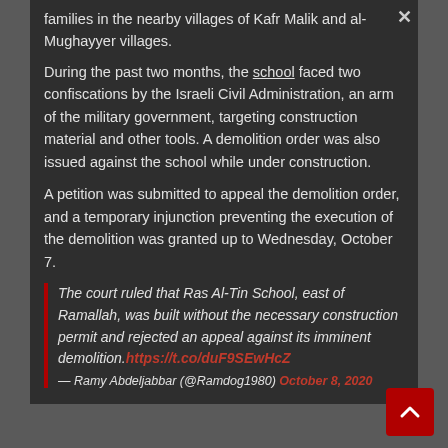families in the nearby villages of Kafr Malik and al-Mughayyer villages.
During the past two months, the school faced two confiscations by the Israeli Civil Administration, an arm of the military government, targeting construction material and other tools. A demolition order was also issued against the school while under construction.
A petition was submitted to appeal the demolition order, and a temporary injunction preventing the execution of the demolition was granted up to Wednesday, October 7.
The court ruled that Ras Al-Tin School, east of Ramallah, was built without the necessary construction permit and rejected an appeal against its imminent demolition. https://t.co/duF9SEwHcZ
— Ramy Abdeljabbar (@Ramdog1980) October 8, 2020